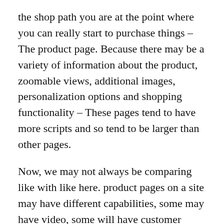the shop path you are at the point where you can really start to purchase things – The product page. Because there may be a variety of information about the product, zoomable views, additional images, personalization options and shopping functionality – These pages tend to have more scripts and so tend to be larger than other pages.
Now, we may not always be comparing like with like here. product pages on a site may have different capabilities, some may have video, some will have customer reviews (More on the 3rd parties providing these services later), some may have multiple product options and we have already mentioned alternate /